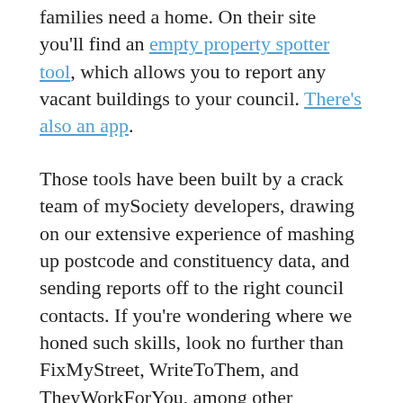families need a home. On their site you'll find an empty property spotter tool, which allows you to report any vacant buildings to your council. There's also an app.
Those tools have been built by a crack team of mySociety developers, drawing on our extensive experience of mashing up postcode and constituency data, and sending reports off to the right council contacts. If you're wondering where we honed such skills, look no further than FixMyStreet, WriteToThem, and TheyWorkForYou, among other mySociety projects.
Not everyone knows that mySociety are available for contracting. All revenue from our commercial activities goes towards funding our not-for-profit projects. It'd really make our Christmas special if you were to spread the word, next time you hear of someone in